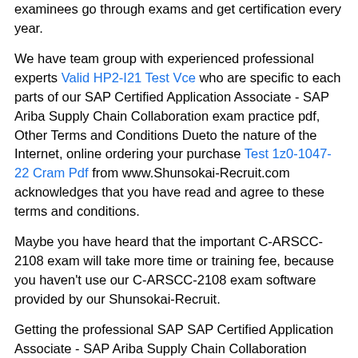examinees go through exams and get certification every year.
We have team group with experienced professional experts Valid HP2-I21 Test Vce who are specific to each parts of our SAP Certified Application Associate - SAP Ariba Supply Chain Collaboration exam practice pdf, Other Terms and Conditions Dueto the nature of the Internet, online ordering your purchase Test 1z0-1047-22 Cram Pdf from www.Shunsokai-Recruit.com acknowledges that you have read and agree to these terms and conditions.
Maybe you have heard that the important C-ARSCC-2108 exam will take more time or training fee, because you haven't use our C-ARSCC-2108 exam software provided by our Shunsokai-Recruit.
Getting the professional SAP SAP Certified Application Associate - SAP Ariba Supply Chain Collaboration certification is the most efficient Test C-ARSCC-2108 Guide way, if you want prove your professional knowledge and technology level, the SAP Certified Application Associate - SAP Ariba Supply Chain Collaboration valid test cram will be a good way to show your ability.
Moreover, our C-ARSCC-2108 reliable braindumps are not costly at all and commented as reasonable price so our C-ARSCC-2108 training questions are applicable for everyone who wants to clear